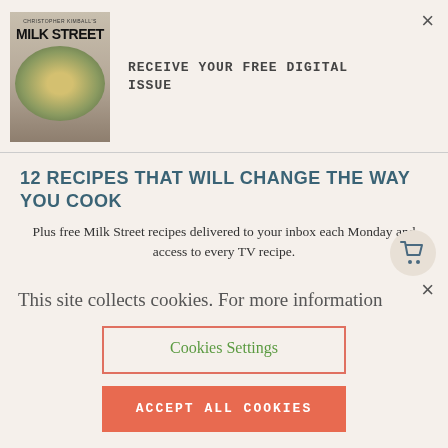[Figure (other): Milk Street magazine cover with food dish photo]
RECEIVE YOUR FREE DIGITAL ISSUE
12 RECIPES THAT WILL CHANGE THE WAY YOU COOK
Plus free Milk Street recipes delivered to your inbox each Monday and access to every TV recipe.
You will also receive special offers from Milk Street. You can unsubscribe from receiving our emails at any time.
This site collects cookies. For more information
Cookies Settings
ACCEPT ALL COOKIES